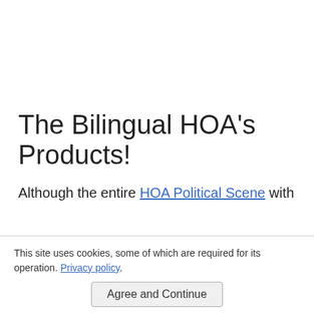The Bilingual HOA's Products!
Although the entire HOA Political Scene with
This site uses cookies, some of which are required for its operation. Privacy policy
Agree and Continue